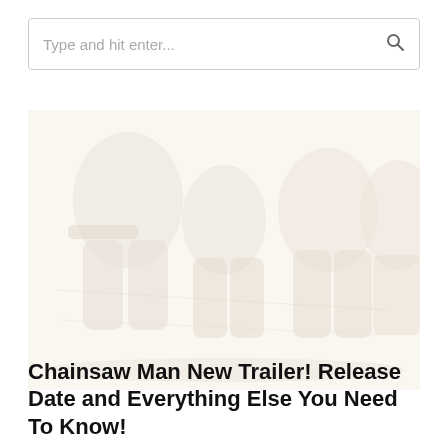Type and hit enter...
[Figure (photo): Faint/washed-out hero image showing Chainsaw Man anime characters in a light beige/cream-toned style]
Chainsaw Man New Trailer! Release Date and Everything Else You Need To Know!